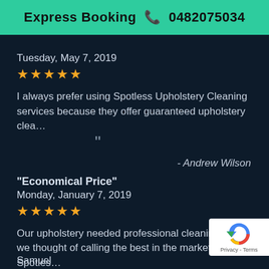Express Booking 📞 0482075034
Tuesday, May 7, 2019
★★★★★
I always prefer using Spotless Upholstery Cleaning services because they offer guaranteed upholstery clea…
- Andrew Wilson
"Economical Price"
Monday, January 7, 2019
★★★★★
Our upholstery needed professional cleaning and so we thought of calling the best in the market - Spotles…
Samuel